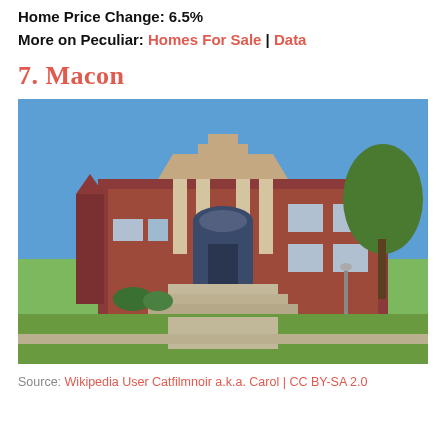Home Price Change: 6.5%
More on Peculiar: Homes For Sale | Data
7. Macon
[Figure (photo): Photograph of a historic red brick public building in Macon, with classical columns and a decorative pediment over the entrance, wide front steps, and green trees visible in the background under a blue sky.]
Source: Wikipedia User Catfilmnoir a.k.a. Carol | CC BY-SA 2.0